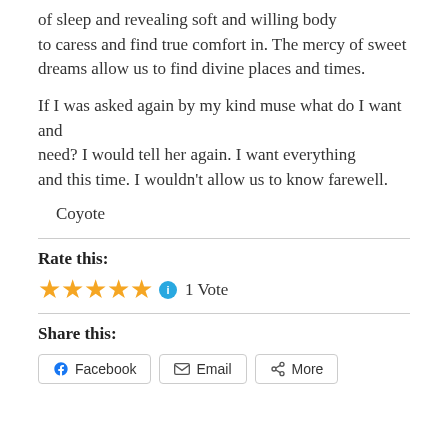of sleep and revealing soft and willing body to caress and find true comfort in. The mercy of sweet dreams allow us to find divine places and times.
If I was asked again by my kind muse what do I want and need? I would tell her again. I want everything and this time. I wouldn't allow us to know farewell.
Coyote
Rate this:
1 Vote
Share this:
Facebook  Email  More